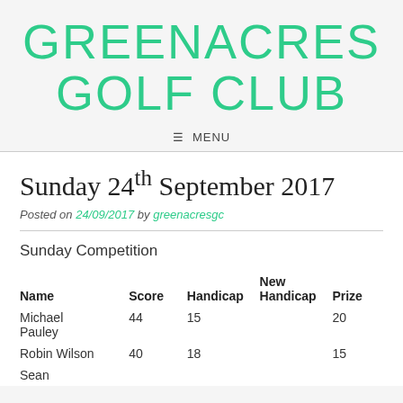GREENACRES GOLF CLUB
☰  MENU
Sunday 24th September 2017
Posted on 24/09/2017 by greenacresgc
Sunday Competition
| Name | Score | Handicap | New Handicap | Prize |
| --- | --- | --- | --- | --- |
| Michael Pauley | 44 | 15 |  | 20 |
| Robin Wilson | 40 | 18 |  | 15 |
| Sean |  |  |  |  |